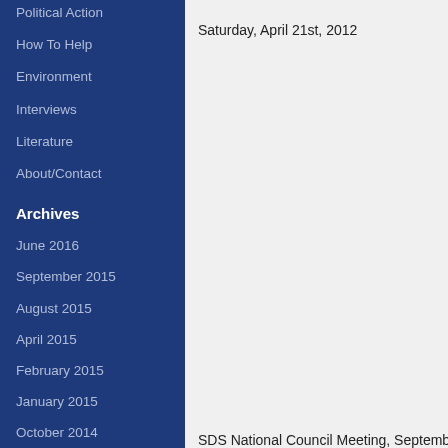Political Action
How To Help
Environment
Interviews
Literature
About/Contact
Archives
June 2016
September 2015
August 2015
April 2015
February 2015
January 2015
October 2014
September 2014
August 2014
July 2014
June 2014
Saturday, April 21st, 2012
SDS National Council Meeting, September